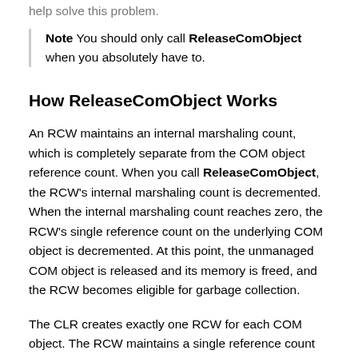help solve this problem.
Note You should only call ReleaseComObject when you absolutely have to.
How ReleaseComObject Works
An RCW maintains an internal marshaling count, which is completely separate from the COM object reference count. When you call ReleaseComObject, the RCW's internal marshaling count is decremented. When the internal marshaling count reaches zero, the RCW's single reference count on the underlying COM object is decremented. At this point, the unmanaged COM object is released and its memory is freed, and the RCW becomes eligible for garbage collection.
The CLR creates exactly one RCW for each COM object. The RCW maintains a single reference count on its associated